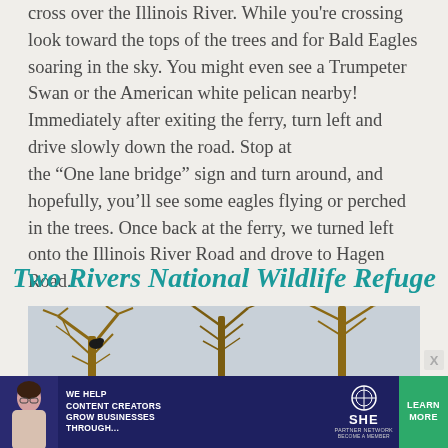cross over the Illinois River. While you're crossing look toward the tops of the trees and for Bald Eagles soaring in the sky. You might even see a Trumpeter Swan or the American white pelican nearby! Immediately after exiting the ferry, turn left and drive slowly down the road. Stop at the “One lane bridge” sign and turn around, and hopefully, you’ll see some eagles flying or perched in the trees. Once back at the ferry, we turned left onto the Illinois River Road and drove to Hagen Road.
Two Rivers National Wildlife Refuge
[Figure (photo): Photo of bare winter trees against a pale blue-grey sky, with a dark bird (eagle) perched in the branches of one of the trees.]